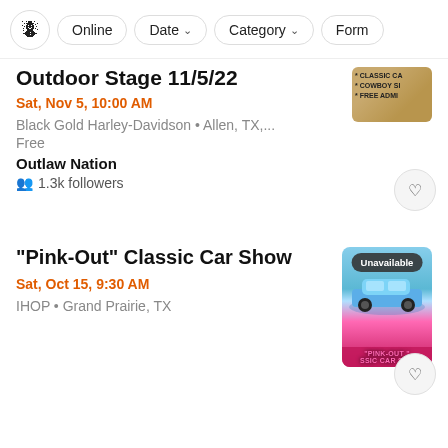Filter bar: [icon] Online  Date ▾  Category ▾  Form
Outdoor Stage 11/5/22
Sat, Nov 5, 10:00 AM
Black Gold Harley-Davidson • Allen, TX,...
Free
Outlaw Nation
1.3k followers
"Pink-Out" Classic Car Show
Sat, Oct 15, 9:30 AM
IHOP • Grand Prairie, TX
[Figure (photo): Pink-Out Classic Car Show event thumbnail showing a blue classic car with pink text overlay and ribbon, marked Unavailable]